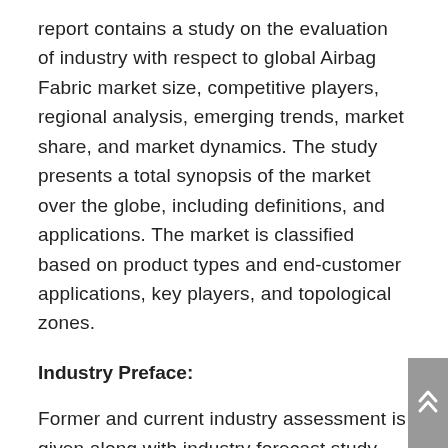report contains a study on the evaluation of industry with respect to global Airbag Fabric market size, competitive players, regional analysis, emerging trends, market share, and market dynamics. The study presents a total synopsis of the market over the globe, including definitions, and applications. The market is classified based on product types and end-customer applications, key players, and topological zones.
Industry Preface:
Former and current industry assessment is given along with industry forecast study. Other skillful elements covered in this report include industry production study, product launching events, growth, and risk factors as well as insights regarding possible